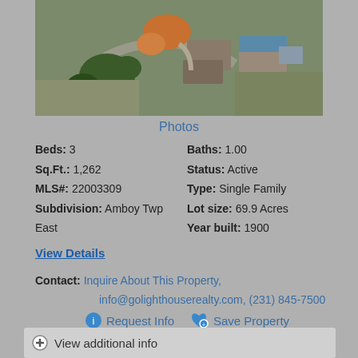[Figure (photo): Aerial satellite view of a rural property with house structures, trees, and open fields]
Photos
Beds: 3   Baths: 1.00
Sq.Ft.: 1,262   Status: Active
MLS#: 22003309   Type: Single Family
Subdivision: Amboy Twp East   Lot size: 69.9 Acres
Year built: 1900
View Details
Contact: Inquire About This Property, info@golighthouserealty.com, (231) 845-7500
Request Info   Save Property
View additional info